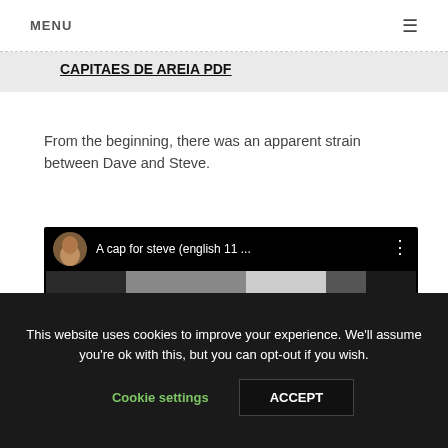MENU ☰
CAPITAES DE AREIA PDF
From the beginning, there was an apparent strain between Dave and Steve.
[Figure (screenshot): Video thumbnail showing 'A cap for steve (english 11 ...' with a circular avatar, video title bar, and a scene with two figures in what appears to be an indoor setting with dark background.]
This website uses cookies to improve your experience. We'll assume you're ok with this, but you can opt-out if you wish.
Cookie settings   ACCEPT